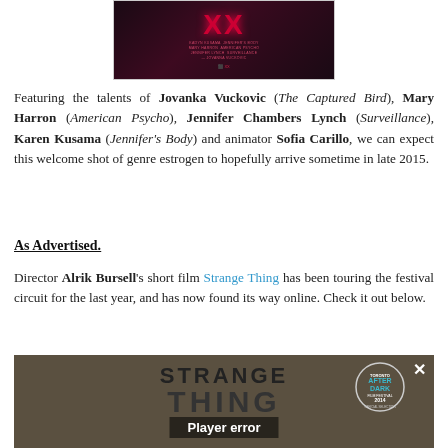[Figure (photo): Dark movie poster with red 'XX' text and credits listing Jovanka Vuckovic, Mary Harron, Jennifer Lynch, Karen Kusama]
Featuring the talents of Jovanka Vuckovic (The Captured Bird), Mary Harron (American Psycho), Jennifer Chambers Lynch (Surveillance), Karen Kusama (Jennifer's Body) and animator Sofia Carillo, we can expect this welcome shot of genre estrogen to hopefully arrive sometime in late 2015.
As Advertised.
Director Alrik Bursell's short film Strange Thing has been touring the festival circuit for the last year, and has now found its way online. Check it out below.
[Figure (screenshot): Video player showing 'Strange Thing' short film with Toronto After Dark Festival 2014 badge and Player error message]